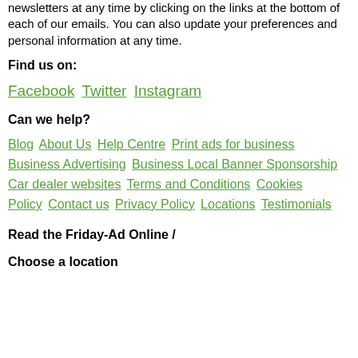newsletters at any time by clicking on the links at the bottom of each of our emails. You can also update your preferences and personal information at any time.
Find us on:
Facebook Twitter Instagram
Can we help?
Blog About Us Help Centre Print ads for business Business Advertising Business Local Banner Sponsorship Car dealer websites Terms and Conditions Cookies Policy Contact us Privacy Policy Locations Testimonials
Read the Friday-Ad Online /
Choose a location